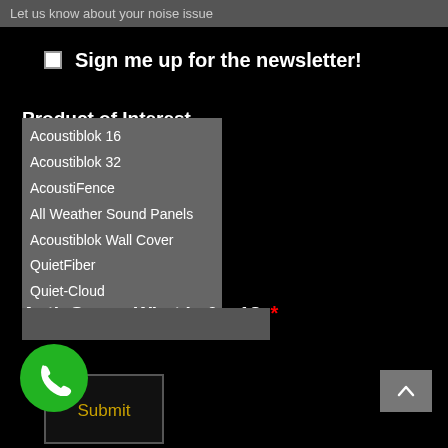Let us know about your noise issue
Sign me up for the newsletter!
Product of Interest
Acoustiblok 16
Acoustiblok 32
AcoustiFence
All Weather Sound Panels
Acoustiblok Wall Cover
QuietFiber
Quiet-Cloud
Anti- Spam: What is 6 + 1? *
Submit